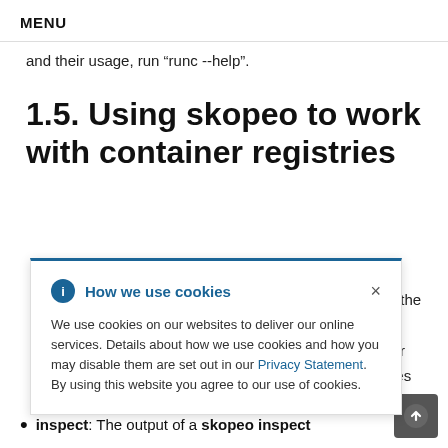MENU
and their usage, run “runc --help”.
1.5. Using skopeo to work with container registries
[Figure (other): Cookie consent popup overlay with 'How we use cookies' header, information text about cookie usage, a Privacy Statement link, and a close button.]
k with
: using the
d.
try, your
Activities
inspect: The output of a skopeo inspect